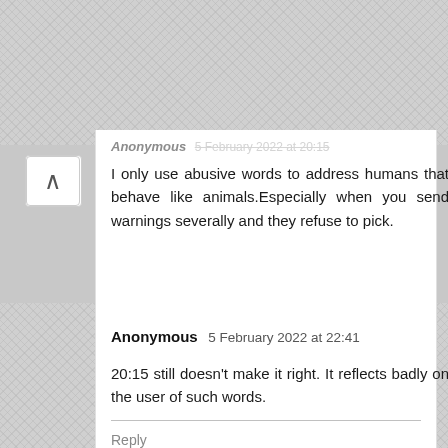Anonymous 5 February 2022 at 20:15
I only use abusive words to address humans that behave like animals.Especially when you send warnings severally and they refuse to pick.
Anonymous 5 February 2022 at 22:41
20:15 still doesn't make it right. It reflects badly on the user of such words.
Reply